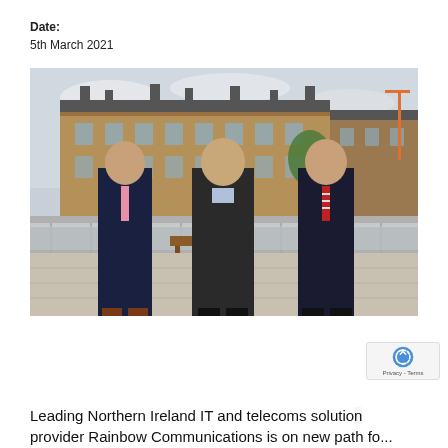Date:
5th March 2021
[Figure (photo): Three men in dark suits standing on an outdoor terrace or rooftop with a historic stone building and construction crane visible in the background. The man on the left wears a pink tie, the man in the middle wears an open-collar shirt, and the man on the right wears a red striped tie.]
Leading Northern Ireland IT and telecoms solution provider Rainbow Communications is on new path fo...